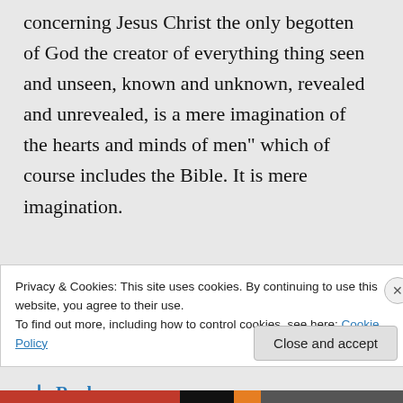concerning Jesus Christ the only begotten of God the creator of everything thing seen and unseen, known and unknown, revealed and unrevealed, is a mere imagination of the hearts and minds of men” which of course includes the Bible. It is mere imagination.
★ Like
↳ Reply
Privacy & Cookies: This site uses cookies. By continuing to use this website, you agree to their use.
To find out more, including how to control cookies, see here: Cookie Policy
Close and accept